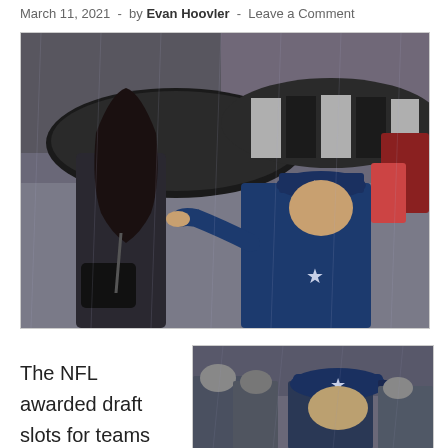March 11, 2021 - by Evan Hoovler - Leave a Comment
[Figure (photo): A young woman with long dark hair holding a black and white umbrella in the rain, standing next to an older man in a Dallas Cowboys cap and jacket who is pointing at something, surrounded by a crowd]
The NFL awarded draft slots for teams that lost free
[Figure (photo): An older man wearing a Dallas Cowboys cap seen from behind in a crowd]